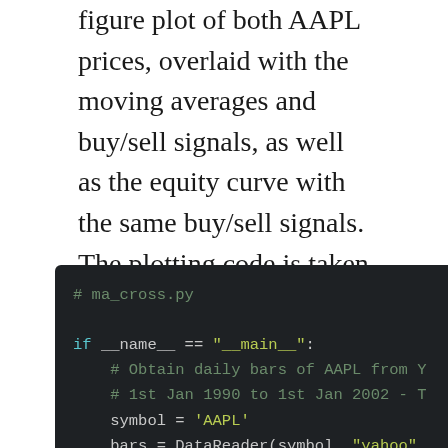figure plot of both AAPL prices, overlaid with the moving averages and buy/sell signals, as well as the equity curve with the same buy/sell signals. The plotting code is taken (and modified) from the zipline implementation example.
[Figure (screenshot): Dark-themed Python code editor showing ma_cross.py with if __name__ == '__main__': block, comments about obtaining AAPL daily bars, symbol and bars variable assignments, and start of MovingAverageCrossStrategy call.]